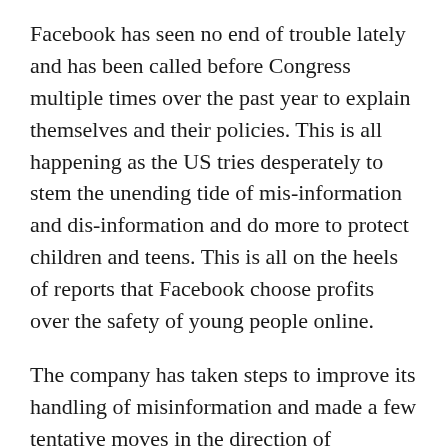Facebook has seen no end of trouble lately and has been called before Congress multiple times over the past year to explain themselves and their policies. This is all happening as the US tries desperately to stem the unending tide of mis-information and dis-information and do more to protect children and teens. This is all on the heels of reports that Facebook choose profits over the safety of young people online.
The company has taken steps to improve its handling of misinformation and made a few tentative moves in the direction of improving teen and child safety online. Recently however they made a move with some genuine substance to it.
The company invested heavily in its proprietary facial recognition system. They used it to